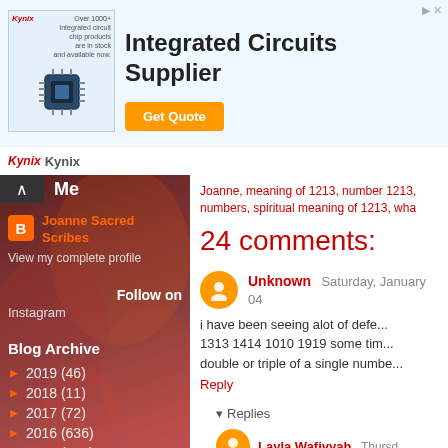[Figure (screenshot): Kynix advertisement banner for Integrated Circuits Supplier with Get Quote button]
Joanne, meaning of 1213, number 1213, numbers, spiritual meaning of 1213, wha
24 comments:
Unknown  Saturday, January 04
i have been seeing alot of defe... 1313 1414 1010 1919 some tim... double or triple of a single numbe...
Reply
▾  Replies
Layla Wafiyyah  Thursd...
And look at the date yo... lot too my intuition te...
Me
Joanne Sacred Scribes
View my complete profile
Follow on
Instagram
Blog Archive
► 2019 (46)
► 2018 (11)
► 2017 (72)
► 2016 (636)
► 2015 (614)